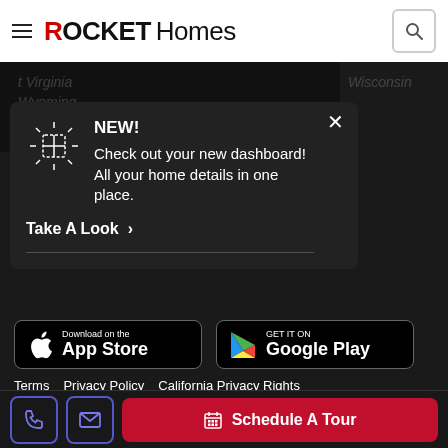ROCKET Homes
[Figure (screenshot): Rocket Homes website navigation header with hamburger menu, ROCKET Homes logo, and search icon]
NEW! Check out your new dashboard! All your home details in one place.
Take A Look >
[Figure (logo): Download on the App Store button]
[Figure (logo): GET IT ON Google Play button]
Terms   Privacy Policy   California Privacy Rights
Rocket Homes License Numbers
NY Fair Housing Notice   Site Feedback   Help
Schedule A Tour